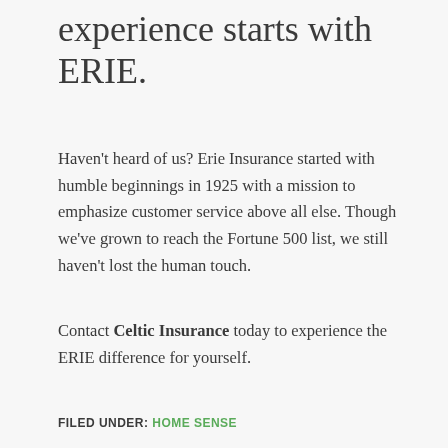experience starts with ERIE.
Haven't heard of us? Erie Insurance started with humble beginnings in 1925 with a mission to emphasize customer service above all else. Though we've grown to reach the Fortune 500 list, we still haven't lost the human touch.
Contact Celtic Insurance today to experience the ERIE difference for yourself.
FILED UNDER: HOME SENSE